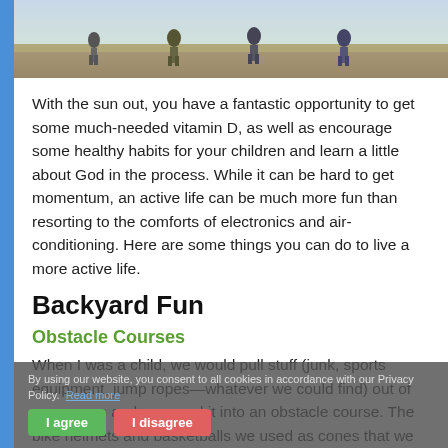[Figure (photo): Photo of children walking outdoors on a path, seen from behind, on a sunny day]
With the sun out, you have a fantastic opportunity to get some much-needed vitamin D, as well as encourage some healthy habits for your children and learn a little about God in the process. While it can be hard to get momentum, an active life can be much more fun than resorting to the comforts of electronics and air-conditioning. Here are some things you can do to live a more active life.
Backyard Fun
Obstacle Courses
When I was a child, we would pull stuff (junk, sports equipment, jump ropes—whatever we could find) out of our garage and arranged it into an obstacle course. The bike helmets and basketballs we used as cones that we had to weave around. We propped up a hula hoop on a tree that we had to crawl
By using our website, you consent to all cookies in accordance with our Privacy Policy. Read more | I agree | I disagree